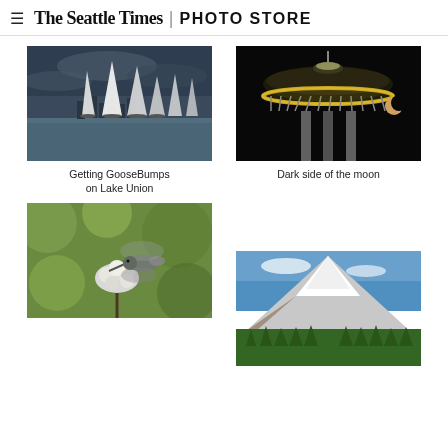≡ The Seattle Times | PHOTO STORE
[Figure (photo): Sailboats with white sails on Lake Union with Seattle skyline in background under dark cloudy sky]
Getting GooseBumps on Lake Union
[Figure (photo): Space Needle structure photographed from below against dark night sky with a partial moon visible]
Dark side of the moon
[Figure (photo): Close-up of a hummingbird hovering near white flowers with green bokeh background]
[Figure (photo): Mount Rainier snow-capped peak with blue sky and forest trees in foreground]